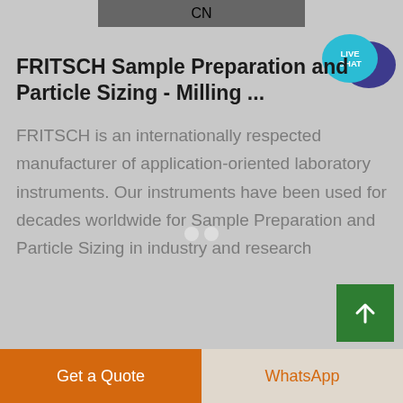[Figure (photo): Partial photo of industrial/lab equipment with yellow 'CN' label visible, cropped at top]
FRITSCH Sample Preparation and Particle Sizing - Milling ...
FRITSCH is an internationally respected manufacturer of application-oriented laboratory instruments. Our instruments have been used for decades worldwide for Sample Preparation and Particle Sizing in industry and research